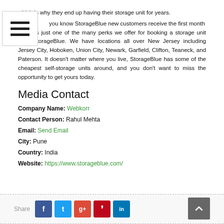which is why they end up having their storage unit for years.
Did you know StorageBlue new customers receive the first month free? That's just one of the many perks we offer for booking a storage unit from StorageBlue. We have locations all over New Jersey including Jersey City, Hoboken, Union City, Newark, Garfield, Clifton, Teaneck, and Paterson. It doesn't matter where you live, StorageBlue has some of the cheapest self-storage units around, and you don't want to miss the opportunity to get yours today.
Media Contact
Company Name: Webkorr
Contact Person: Rahul Mehta
Email: Send Email
City: Pune
Country: India
Website: https://www.storageblue.com/
Share [Facebook] [Twitter] [Google+] [Pinterest] [LinkedIn]